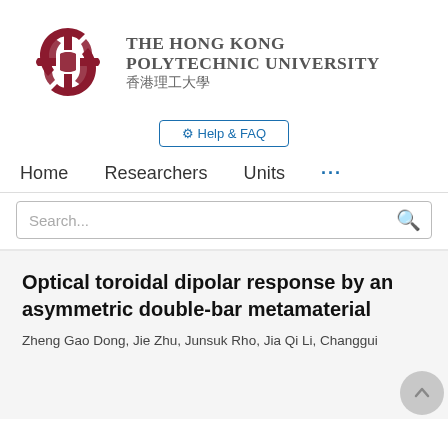[Figure (logo): The Hong Kong Polytechnic University logo with red interlocking knot emblem and university name in English and Chinese]
⚙ Help & FAQ
Home   Researchers   Units   ...
Search...
Optical toroidal dipolar response by an asymmetric double-bar metamaterial
Zheng Gao Dong, Jie Zhu, Junsuk Rho, Jia Qi Li, Changgui